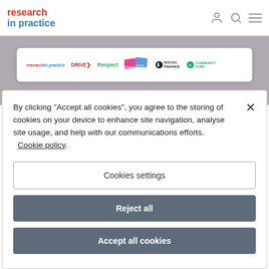research in practice
[Figure (logo): Partner logos: research in practice, DRIVE, Respect, Choice (Ending domestic abuse), Social Finance, National Lottery Community Fund]
By clicking “Accept all cookies”, you agree to the storing of cookies on your device to enhance site navigation, analyse site usage, and help with our communications efforts. Cookie policy.
Cookies settings
Reject all
Accept all cookies